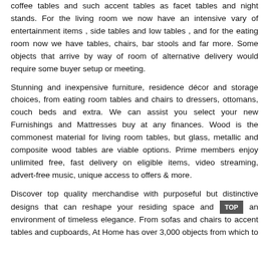coffee tables and such accent tables as facet tables and night stands. For the living room we now have an intensive vary of entertainment items , side tables and low tables , and for the eating room now we have tables, chairs, bar stools and far more. Some objects that arrive by way of room of alternative delivery would require some buyer setup or meeting.
Stunning and inexpensive furniture, residence décor and storage choices, from eating room tables and chairs to dressers, ottomans, couch beds and extra. We can assist you select your new Furnishings and Mattresses buy at any finances. Wood is the commonest material for living room tables, but glass, metallic and composite wood tables are viable options. Prime members enjoy unlimited free, fast delivery on eligible items, video streaming, advert-free music, unique access to offers & more.
Discover top quality merchandise with purposeful but distinctive designs that can reshape your residing space and evoke an environment of timeless elegance. From sofas and chairs to accent tables and cupboards, At Home has over 3,000 objects from which to